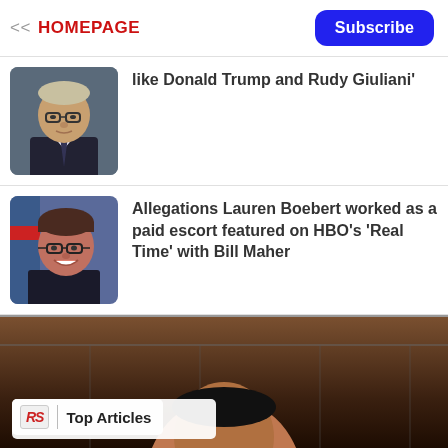<< HOMEPAGE
Subscribe
like Donald Trump and Rudy Giuliani'
Allegations Lauren Boebert worked as a paid escort featured on HBO's 'Real Time' with Bill Maher
[Figure (photo): RS logo with Top Articles badge over a dark photo background]
Top Articles